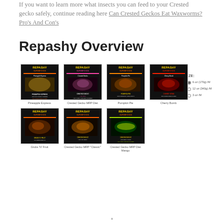If you want to learn more what insects you can feed to your Crested gecko safely, continue reading here Can Crested Geckos Eat Waxworms? Pro's And Con's
Repashy Overview
[Figure (photo): Grid of 7 Repashy product packages for crested geckos: Pineapple Express, Crested Gecko MRP Diet, Pumpkin Pie, Cherry Bomb, Grubs 'N' Fruit, Crested Gecko MRP Classic, Crested Gecko MRP Diet Mango]
Pineapple Express
Crested Gecko MRP Diet
Pumpkin Pie
Cherry Bomb
Grubs 'N' Fruit
Crested Gecko MRP "Classic"
Crested Gecko MRP Diet Mango
SIZE:
6 oz (170g) /M
12 oz (340g) /M
3 oz /M